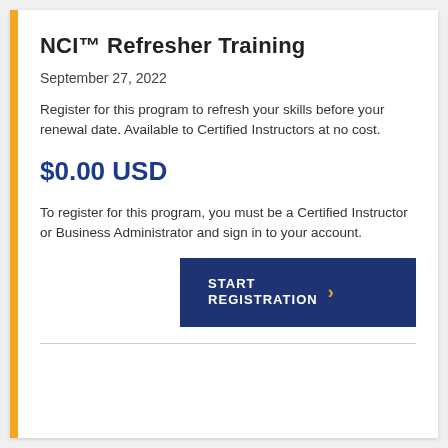NCI™ Refresher Training
September 27, 2022
Register for this program to refresh your skills before your renewal date. Available to Certified Instructors at no cost.
$0.00 USD
To register for this program, you must be a Certified Instructor or Business Administrator and sign in to your account.
START REGISTRATION